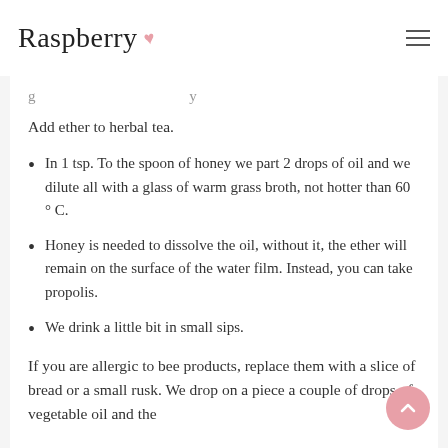Raspberry
Add ether to herbal tea.
In 1 tsp. To the spoon of honey we part 2 drops of oil and we dilute all with a glass of warm grass broth, not hotter than 60 ° C.
Honey is needed to dissolve the oil, without it, the ether will remain on the surface of the water film. Instead, you can take propolis.
We drink a little bit in small sips.
If you are allergic to bee products, replace them with a slice of bread or a small rusk. We drop on a piece a couple of drops of vegetable oil and the